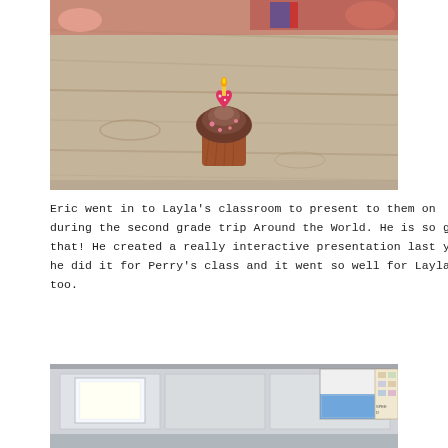[Figure (photo): A chocolate cupcake with a pink heart-shaped decoration and a candle on top, sitting on a wooden table. Children's hands and colorful backgrounds are visible at the edges.]
Eric went in to Layla's classroom to present to them on Brazil during the second grade trip Around the World. He is so good at that! He created a really interactive presentation last year when he did it for Perry's class and it went so well for Layla's class, too.
[Figure (photo): A classroom interior showing a ceiling with fluorescent lights, a projector screen at the front, and bulletin boards on the wall. A blue glow from the projected screen is visible.]